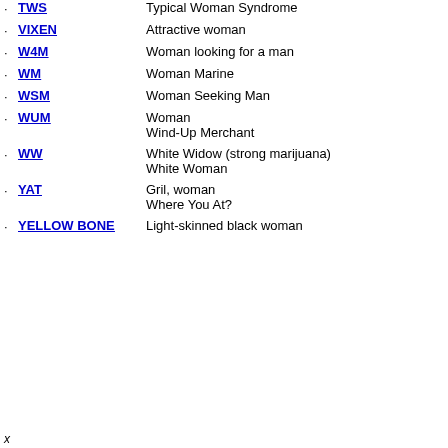TWS - Typical Woman Syndrome
VIXEN - Attractive woman
W4M - Woman looking for a man
WM - Woman Marine
WSM - Woman Seeking Man
WUM - Woman / Wind-Up Merchant
WW - White Widow (strong marijuana) / White Woman
YAT - Gril, woman / Where You At?
YELLOW BONE - Light-skinned black woman
x